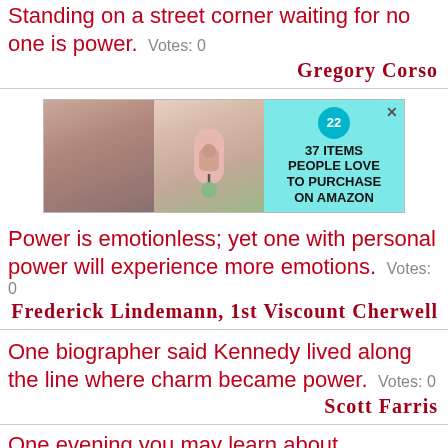Standing on a street corner waiting for no one is power.  Votes: 0
Gregory Corso
[Figure (other): Advertisement banner: teal background with two product images (woman with necklace, pink soap dispenser), badge showing '22', text '37 ITEMS PEOPLE LOVE TO PURCHASE ON AMAZON']
Power is emotionless; yet one with personal power will experience more emotions.  Votes: 0
Frederick Lindemann, 1st Viscount Cherwell
One biographer said Kennedy lived along the line where charm became power.  Votes: 0
Scott Farris
One evening you may learn about